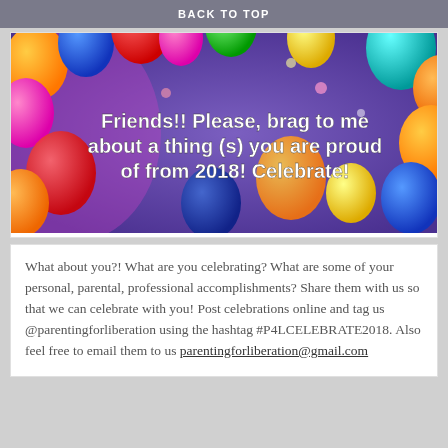BACK TO TOP
[Figure (illustration): Colorful balloons on a purple/blue background with white bold text: 'Friends!! Please, brag to me about a thing (s) you are proud of from 2018! Celebrate!']
What about you?! What are you celebrating? What are some of your personal, parental, professional accomplishments? Share them with us so that we can celebrate with you! Post celebrations online and tag us @parentingforliberation using the hashtag #P4LCELEBRATE2018. Also feel free to email them to us parentingforliberation@gmail.com